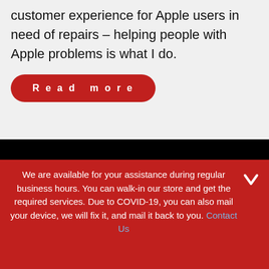customer experience for Apple users in need of repairs – helping people with Apple problems is what I do.
Read more
Join Our Newsletter
We are available for your assistance during regular business hours. You can walk-in our store and get the required services. Due to COVID-19, you can also mail your device, we will fix it, and mail it back to you. Contact Us